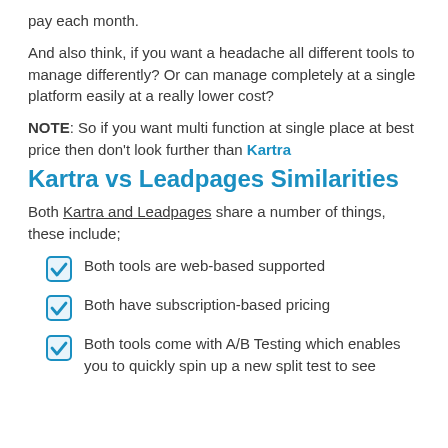pay each month.
And also think, if you want a headache all different tools to manage differently? Or can manage completely at a single platform easily at a really lower cost?
NOTE: So if you want multi function at single place at best price then don’t look further than Kartra
Kartra vs Leadpages Similarities
Both Kartra and Leadpages share a number of things, these include;
Both tools are web-based supported
Both have subscription-based pricing
Both tools come with A/B Testing which enables you to quickly spin up a new split test to see